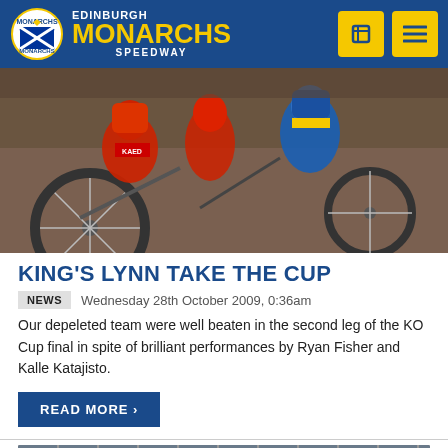Edinburgh Monarchs Speedway
[Figure (photo): Speedway riders racing on track, aerial view showing multiple riders on motorcycles]
KING'S LYNN TAKE THE CUP
NEWS   Wednesday 28th October 2009, 0:36am
Our depeleted team were well beaten in the second leg of the KO Cup final in spite of brilliant performances by Ryan Fisher and Kalle Katajisto.
READ MORE >
[Figure (photo): Speedway riders racing on track, close-up view with riders in colorful helmets including green and red, Scottish flag visible]